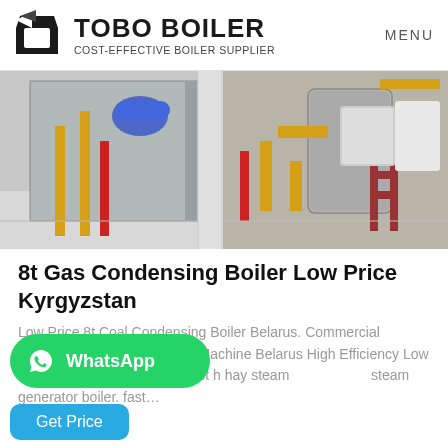[Figure (logo): Tobo Boiler logo with geometric icon, bold TOBO BOILER text and subtitle COST-EFFECTIVE BOILER SUPPLIER, with MENU text on right]
[Figure (photo): Industrial boiler room with colorful pipes (blue, yellow, red), large cylindrical boiler unit and equipment on white floor]
8t Gas Condensing Boiler Low Price Kyrgyzstan
Low Price 8t Coal Condensing Boiler Belarus. Commercial Distributor 8t gas fired Boiler Machine Belarus High Efficiency Low Price 2t coal boiler Turkey. 0 3t h hay steam steam generator boiler. fast...
[Figure (other): WhatsApp green button with phone icon and WhatsApp label]
[Figure (other): Get Price blue button]